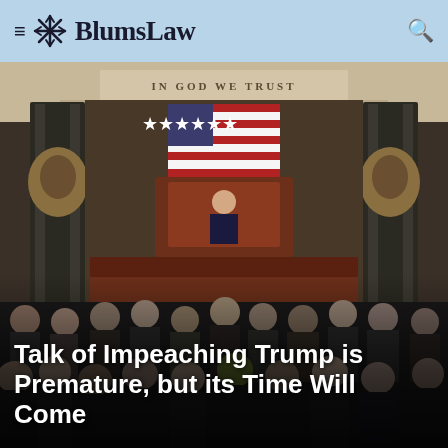BlumsLaw
[Figure (photo): US House of Representatives chamber during a session, with a presiding officer seated at the Speaker's rostrum beneath the American flag and 'IN GOD WE TRUST' inscription, surrounded by many legislators standing and milling about on the floor.]
Talk of Impeaching Trump is Premature, but its Time Will Come